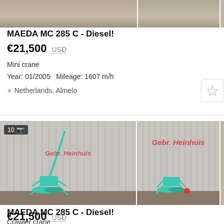[Figure (photo): Top cropped images of MAEDA MC 285 C mini crane, two photos side by side]
MAEDA MC 285 C - Diesel!
€21,500  USD
Mini crane
Year: 01/2005  Mileage: 1607 m/h
Netherlands, Almelo
[Figure (photo): Two photos of MAEDA MC 285 C crawler crane against grey corrugated metal wall, with Gebr. Heinhuis watermark. Badge showing 10 photos.]
MAEDA MC 285 C - Diesel!
€21,500  USD
Crawler crane